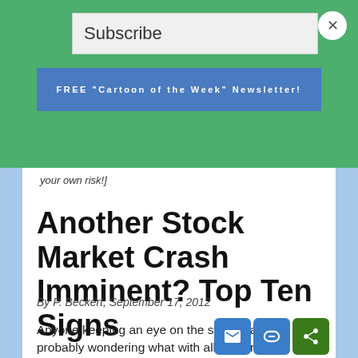Subscribe
FREE "Cartoon of the Week" Newsletter!
your own risk!]
Another Stock Market Crash Imminent? Top Ten Signs
By P. Beckert, September 17, 2012
Anyone keeping an eye on the stock market is probably wondering what with all the turmoil in the world, gas prices nipping at the heels of $4 a gallon yet again, and unemp numbers refusing to edge downward, how